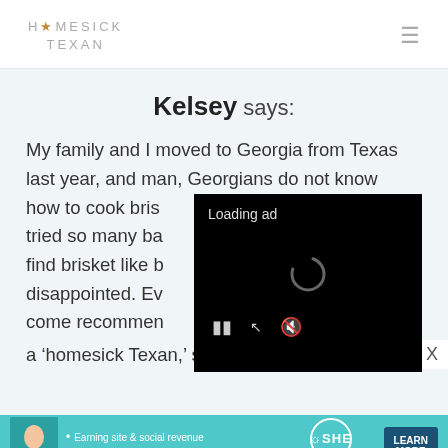HOMESICK TEXAN
Kelsey says:
My family and I moved to Georgia from Texas last year, and man, Georgians do not know how to cook brisket. I tried so many barbecue places trying to find brisket like back home and was disappointed. Every place I asked come recommended but none of them could call themselves a 'homesick Texan,' so I'm so excited to find
[Figure (screenshot): Video player overlay showing 'Loading ad' text with a spinner and playback controls (pause, fullscreen, mute) on a black background]
[Figure (screenshot): SHE Partner Network advertisement banner showing a woman, bullet points about earning site & social revenue and traffic growth, SHE logo, and a Learn More button]